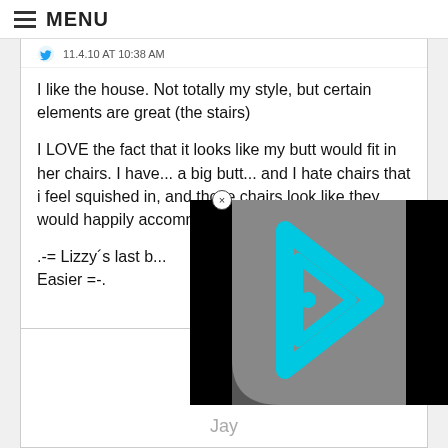MENU
11.4.10 AT 10:38 AM
I like the house. Not totally my style, but certain elements are great (the stairs)

I LOVE the fact that it looks like my butt would fit in her chairs. I have... a big butt... and I hate chairs that i feel squished in, and those chairs look like they would happily accommodate any butt that ca...
.-= Lizzy's last b...
Easier =-.
[Figure (screenshot): Video overlay with gray background, cyan/teal triangle play button logo with a dot inside, and black bars on sides]
Jay